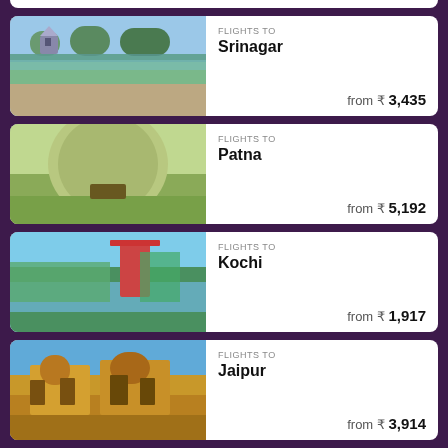[Figure (photo): Partial flight destination card at top (cropped)]
FLIGHTS TO
Srinagar
from ₹ 3,435
FLIGHTS TO
Patna
from ₹ 5,192
FLIGHTS TO
Kochi
from ₹ 1,917
FLIGHTS TO
Jaipur
from ₹ 3,914